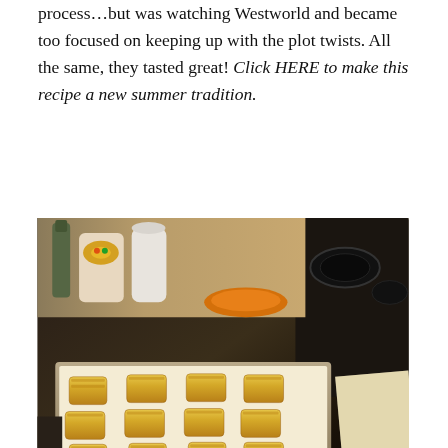process…but was watching Westworld and became too focused on keeping up with the plot twists. All the same, they tasted great! Click HERE to make this recipe a new summer tradition.
[Figure (photo): A baking tray with approximately 18 golden-brown baked hand pies arranged in rows on parchment paper, sitting on a black stovetop/range. Kitchen items visible in background including bottles, a decorative bowl, and an orange plate.]
Summer and pie are a perfect pair, rousing memories of lazy, hot days with sweet iced tea and picnic blankets. Today was a perfect example of that kind of weather